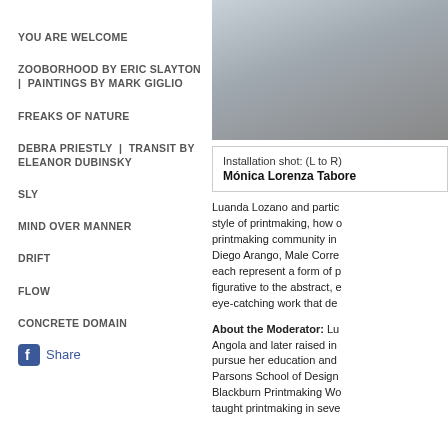YOU ARE WELCOME
ZOOBORHOOD BY ERIC SLAYTON | PAINTINGS BY MARK GIGLIO
FREAKS OF NATURE
DEBRA PRIESTLY | TRANSIT BY ELEANOR DUBINSKY
SLY
MIND OVER MANNER
DRIFT
FLOW
CONCRETE DOMAIN
Share
[Figure (photo): Installation photo showing a grey architectural surface or artwork]
Installation shot: (L to R) Mónica Lorenza Tabore...
Luanda Lozano and partic... style of printmaking, how o... printmaking community in... Diego Arango, Male Corre... each represent a form of p... figurative to the abstract, e... eye-catching work that de...
About the Moderator: Lu... Angola and later raised in... pursue her education and... Parsons School of Design... Blackburn Printmaking Wo... taught printmaking in seve...